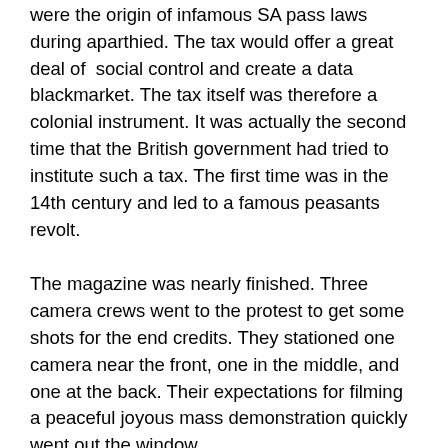were the origin of infamous SA pass laws during aparthied. The tax would offer a great deal of social control and create a data blackmarket. The tax itself was therefore a colonial instrument. It was actually the second time that the British government had tried to institute such a tax. The first time was in the 14th century and led to a famous peasants revolt.
The magazine was nearly finished. Three camera crews went to the protest to get some shots for the end credits. They stationed one camera near the front, one in the middle, and one at the back. Their expectations for filming a peaceful joyous mass demonstration quickly went out the window.
Violence against protestors by the police left many bruised and bleeding. Hundreds were arrested. Police horses and vans repeatedly drove through the crowd, trampling people underfoot – all in the name of public order. However, none of this violence was reflected in the narrative on the evening news which depicted the demonstrators as violent and the police as responding to